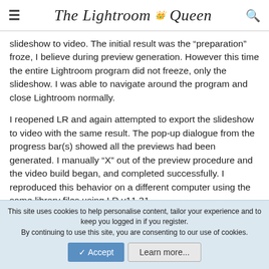The Lightroom Queen
slideshow to video. The initial result was the “preparation” froze, I believe during preview generation. However this time the entire Lightroom program did not freeze, only the slideshow. I was able to navigate around the program and close Lightroom normally.
I reopened LR and again attempted to export the slideshow to video with the same result. The pop-up dialogue from the progress bar(s) showed all the previews had been generated. I manually “X” out of the preview procedure and the video build began, and completed successfully. I reproduced this behavior on a different computer using the same library files using LR v11.31
I don’t have much confidence but it’s kind of working using v11.4. I’ll
This site uses cookies to help personalise content, tailor your experience and to keep you logged in if you register.
By continuing to use this site, you are consenting to our use of cookies.